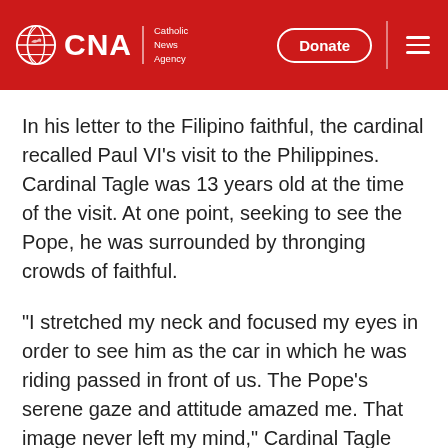CNA | Catholic News Agency — Donate
In his letter to the Filipino faithful, the cardinal recalled Paul VI's visit to the Philippines. Cardinal Tagle was 13 years old at the time of the visit. At one point, seeking to see the Pope, he was surrounded by thronging crowds of faithful.
"I stretched my neck and focused my eyes in order to see him as the car in which he was riding passed in front of us. The Pope's serene gaze and attitude amazed me. That image never left my mind," Cardinal Tagle reflected.